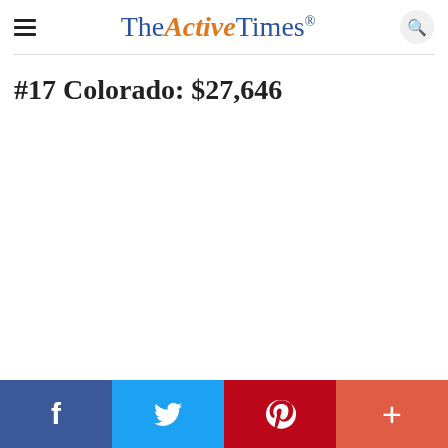TheActiveTimes
#17 Colorado: $27,646